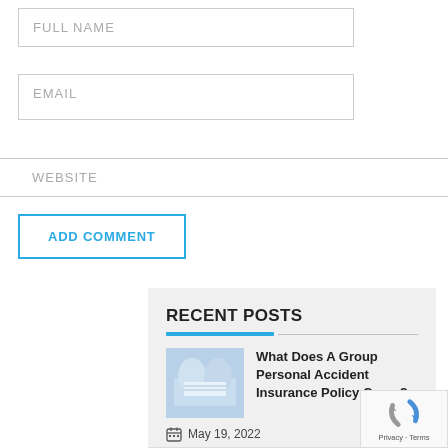FULL NAME
EMAIL
WEBSITE
ADD COMMENT
RECENT POSTS
[Figure (photo): Hands reviewing documents on a clipboard, group insurance policy context]
What Does A Group Personal Accident Insurance Policy Cover?
May 19, 2022
[Figure (other): reCAPTCHA widget with Privacy and Terms links]